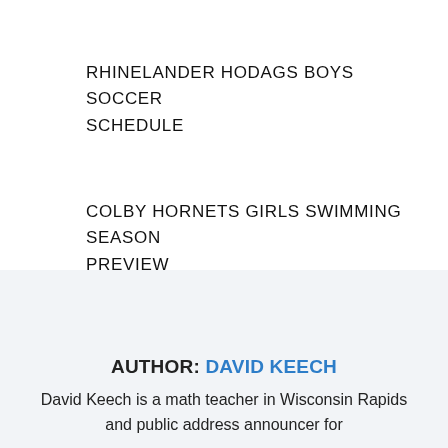RHINELANDER HODAGS BOYS SOCCER SCHEDULE
COLBY HORNETS GIRLS SWIMMING SEASON PREVIEW
AUTHOR: DAVID KEECH
David Keech is a math teacher in Wisconsin Rapids and public address announcer for